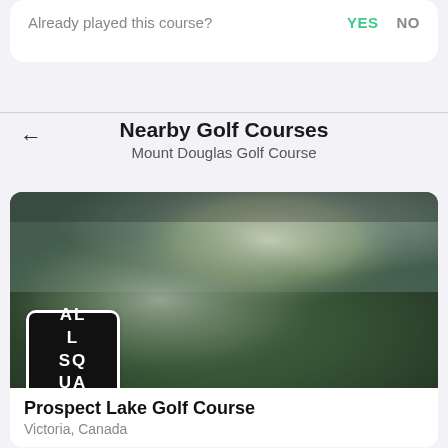Already played this course?
YES  NO
Nearby Golf Courses
Mount Douglas Golf Course
[Figure (photo): Blurred golf course landscape photo with green and grey tones, with All Square logo overlay in bottom-left corner]
Prospect Lake Golf Course
Victoria, Canada